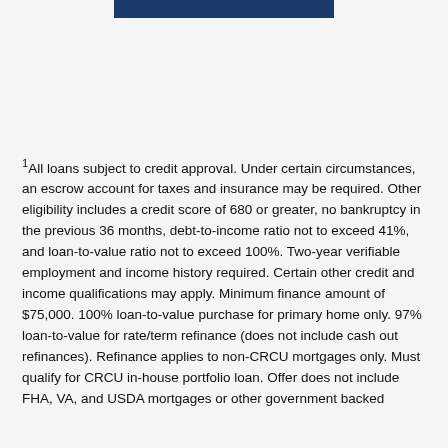1All loans subject to credit approval. Under certain circumstances, an escrow account for taxes and insurance may be required. Other eligibility includes a credit score of 680 or greater, no bankruptcy in the previous 36 months, debt-to-income ratio not to exceed 41%, and loan-to-value ratio not to exceed 100%. Two-year verifiable employment and income history required. Certain other credit and income qualifications may apply. Minimum finance amount of $75,000. 100% loan-to-value purchase for primary home only. 97% loan-to-value for rate/term refinance (does not include cash out refinances). Refinance applies to non-CRCU mortgages only. Must qualify for CRCU in-house portfolio loan. Offer does not include FHA, VA, and USDA mortgages or other government backed